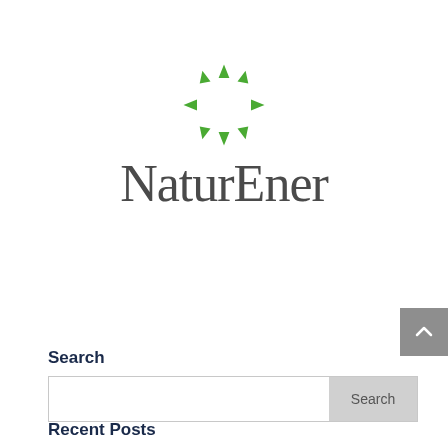[Figure (logo): NaturEner logo: circle of green arrows pointing outward in 8 directions, above the text 'NaturEner' in gray serif font]
Search
Recent Posts